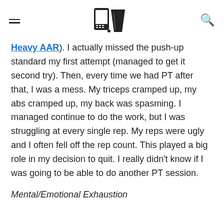[hamburger menu] [logo: phone and cup icons] [search icon]
Heavy AAR). I actually missed the push-up standard my first attempt (managed to get it second try). Then, every time we had PT after that, I was a mess. My triceps cramped up, my abs cramped up, my back was spasming. I managed continue to do the work, but I was struggling at every single rep. My reps were ugly and I often fell off the rep count. This played a big role in my decision to quit. I really didn't know if I was going to be able to do another PT session.
Mental/Emotional Exhaustion